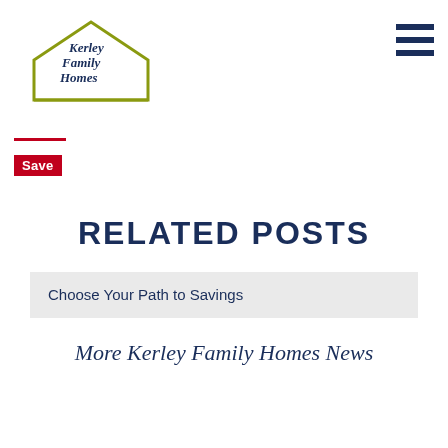[Figure (logo): Kerley Family Homes logo with house outline and script text]
Save
RELATED POSTS
Choose Your Path to Savings
More Kerley Family Homes News